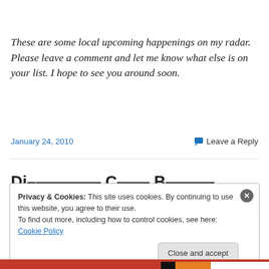These are some local upcoming happenings on my radar. Please leave a comment and let me know what else is on your list. I hope to see you around soon.
January 24, 2010    Leave a Reply
Di... (partially visible section title)
Privacy & Cookies: This site uses cookies. By continuing to use this website, you agree to their use. To find out more, including how to control cookies, see here: Cookie Policy